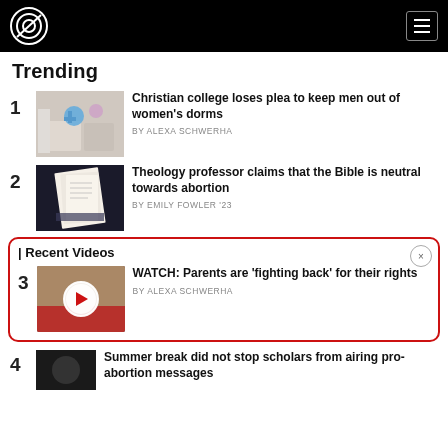Trending
1. Christian college loses plea to keep men out of women's dorms — BY ALEXA SCHWERHA
2. Theology professor claims that the Bible is neutral towards abortion — BY EMILY FOWLER '23
| Recent Videos
3. WATCH: Parents are 'fighting back' for their rights — BY ALEXA SCHWERHA
4. Summer break did not stop scholars from airing pro-abortion messages